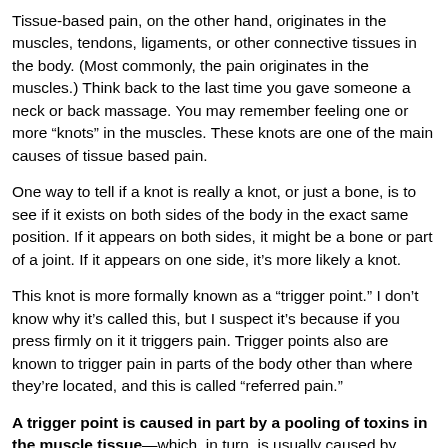Tissue-based pain, on the other hand, originates in the muscles, tendons, ligaments, or other connective tissues in the body. (Most commonly, the pain originates in the muscles.) Think back to the last time you gave someone a neck or back massage. You may remember feeling one or more “knots” in the muscles. These knots are one of the main causes of tissue based pain.
One way to tell if a knot is really a knot, or just a bone, is to see if it exists on both sides of the body in the exact same position. If it appears on both sides, it might be a bone or part of a joint. If it appears on one side, it’s more likely a knot.
This knot is more formally known as a “trigger point.” I don’t know why it’s called this, but I suspect it’s because if you press firmly on it it triggers pain. Trigger points also are known to trigger pain in parts of the body other than where they’re located, and this is called “referred pain.”
A trigger point is caused in part by a pooling of toxins in the muscle tissue—which, in turn, is usually caused by imbalances in your diet, excess negative stress, and/or damage to the actual muscle fibers as a result of an injury and/or excessive exercise or physical activity.
If you’re under a lot of stress, for example, your body’s natural tendency is to...